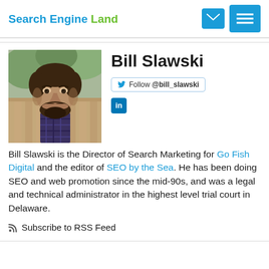Search Engine Land
[Figure (photo): Headshot photo of Bill Slawski, a man with dark hair and beard, wearing a patterned dark shirt, photographed outdoors.]
Bill Slawski
Follow @bill_slawski
LinkedIn icon
Bill Slawski is the Director of Search Marketing for Go Fish Digital and the editor of SEO by the Sea. He has been doing SEO and web promotion since the mid-90s, and was a legal and technical administrator in the highest level trial court in Delaware.
Subscribe to RSS Feed